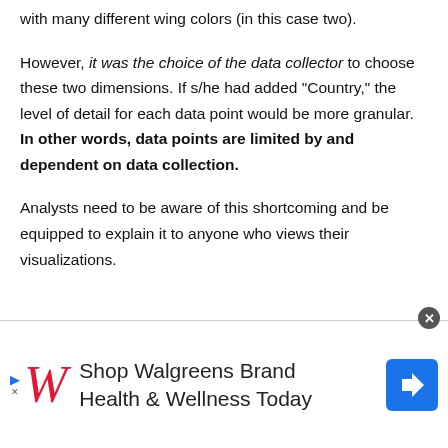with many different wing colors (in this case two).
However, it was the choice of the data collector to choose these two dimensions. If s/he had added “Country,” the level of detail for each data point would be more granular. In other words, data points are limited by and dependent on data collection.
Analysts need to be aware of this shortcoming and be equipped to explain it to anyone who views their visualizations.
[Figure (other): Walgreens advertisement banner: Shop Walgreens Brand Health & Wellness Today, with Walgreens W logo and navigation icon]